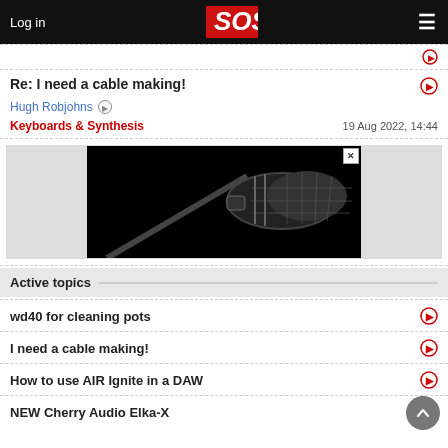Log in | SOS | Menu
Re: I need a cable making!
Hugh Robjohns
Keyboards & Synthesis | 19 Aug 2022, 14:44
[Figure (photo): Advertisement showing a close-up of a microphone on a stand against a black background]
Active topics
wd40 for cleaning pots
I need a cable making!
How to use AIR Ignite in a DAW
NEW Cherry Audio Elka-X